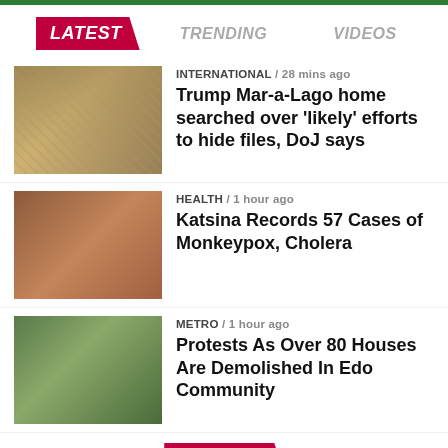LATEST | TRENDING | VIDEOS
[Figure (photo): Photo of documents/envelopes on a surface]
INTERNATIONAL / 28 mins ago
Trump Mar-a-Lago home searched over 'likely' efforts to hide files, DoJ says
[Figure (photo): Photo of a hand with monkeypox lesions]
HEALTH / 1 hour ago
Katsina Records 57 Cases of Monkeypox, Cholera
[Figure (photo): Photo of protesters holding signs]
METRO / 1 hour ago
Protests As Over 80 Houses Are Demolished In Edo Community
TRENDING
[Figure (photo): Photo of a man and dark background]
METRO / 6 days ago
Man testing a gun shoots 11-year-